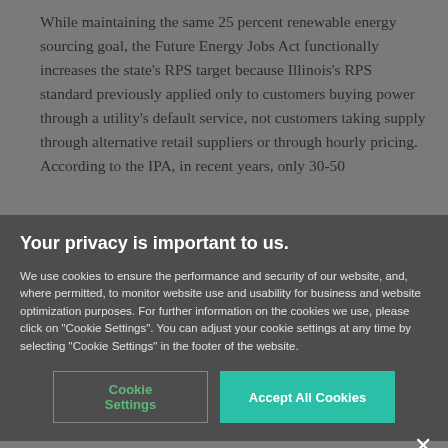While maintaining the same 25 percent renewable energy sourcing goal, the Future Energy Jobs Act functionally increases the state's RPS target because Illinois's RPS standard previously applied only to customers buying power through a utility's default service, not customers taking supply through alternative retail suppliers or through hourly pricing. According to the IPA, in recent years, only 30-50
Your privacy is important to us.
We use cookies to ensure the performance and security of our website, and, where permitted, to monitor website use and usability for business and website optimization purposes. For further information on the cookies we use, please click on "Cookie Settings". You can adjust your cookie settings at any time by selecting "Cookie Settings" in the footer of the website.
Cookie Settings
Accept All Cookies